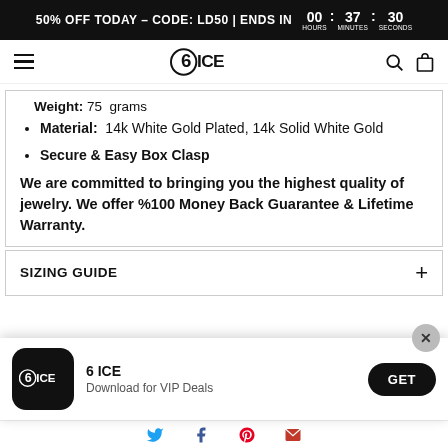50% OFF TODAY - CODE: LD50 | ENDS IN 00 HOURS : 37 MINUTES : 30 SECONDS
6ICE
Weight: 75 grams
Material: 14k White Gold Plated, 14k Solid White Gold
Secure & Easy Box Clasp
We are committed to bringing you the highest quality of jewelry. We offer %100 Money Back Guarantee & Lifetime Warranty.
SIZING GUIDE
[Figure (screenshot): 6 ICE app download popup with logo, text '6 ICE - Download for VIP Deals' and GET button]
[Figure (infographic): Social share icons: Twitter (blue bird), Facebook (blue f), Pinterest (red P), Email (red envelope)]